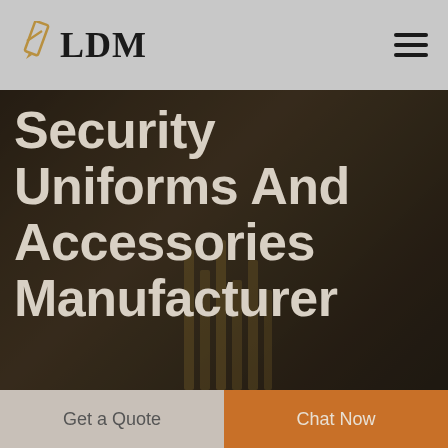LDM
Security Uniforms And Accessories Manufacturer
[Figure (screenshot): Dark blurred workshop/factory background photo with people and vertical rod elements visible]
Get a Quote
Chat Now